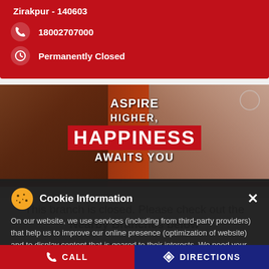Zirakpur - 140603
18002707000
Permanently Closed
[Figure (photo): Promotional banner with people smiling and text 'ASPIRE HIGHER, HAPPINESS AWAITS YOU' on red and dark background]
This branch is closed. Please check out the Nearby Branches below
Cookie Information
On our website, we use services (including from third-party providers) that help us to improve our online presence (optimization of website) and to display content that is geared to their interests. We need your consent before being able to use these services.
I ACCEPT
< back to timeline
CALL    DIRECTIONS